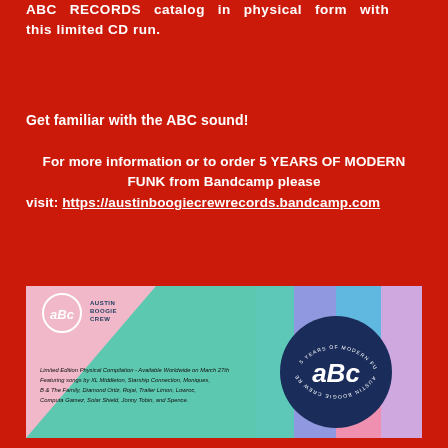ABC RECORDS catalog in physical form with this limited CD run.
Get familiar with the ABC sound!
For more information or to order 5 YEARS OF MODERN FUNK from Bandcamp please visit: https://austinboogiecrewrecords.bandcamp.com
[Figure (illustration): Austin Boogie Crew Records banner for '5 Years of Modern Funk' limited edition physical compilation CD. Features ABC logo, colorful geometric background, artist names, and circular badge with aBc text.]